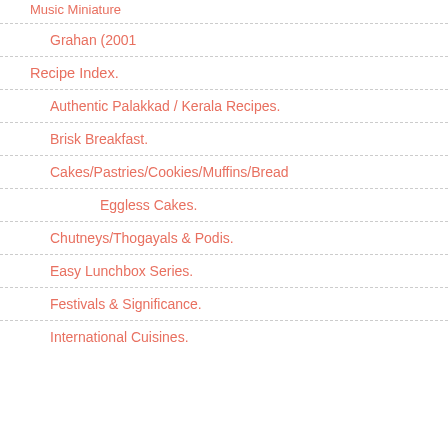Music Miniature
Grahan (2001
Recipe Index.
Authentic Palakkad / Kerala Recipes.
Brisk Breakfast.
Cakes/Pastries/Cookies/Muffins/Bread
Eggless Cakes.
Chutneys/Thogayals & Podis.
Easy Lunchbox Series.
Festivals & Significance.
International Cuisines.